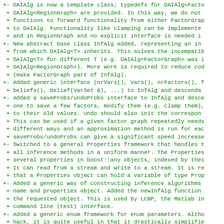+-  DAIAlg is now a template class; typedefs for DAIAlg<Facto
 +  DAIAlg<RegionGraph> are provided. In this way, we do not
 +  functions to forward functionality from either FactorGrap
 +  to DAIAlg. Functionality like clamping can be implemente
 +  and in RegionGraph and no explicit interface is needed i
+- New abstract base class InfAlg added, representing an in
 +  from which DAIAlg<T> inherits. This solves the incompati
 +  DAIAlg<T> for different T (e.g. DAIAlg<FactorGraph> was
 +  DAIAlg<RegionGraph>). More work is required to reduce co
 +  (make FactorGraph part of InfAlg).
+- Added generic interface (nrVars(), Vars(), nrFactors(), 
 +  beliefs(), belief(VarSet &), ...) to InfAlg and descenda
+- Added a saveProbs/undoProbs interface to InfAlg and desc
 +  one to save a few factors, modify them (e.g. clamp them)
 +  to their old values. Undo should also init the correspon
 +  This can be used if a given factor graph repeatedly need
 +  different ways and an approximation method is run for ea
 +  saveProbs/undoProbs can give a significant speed increase
+- Switched to a general Properties framework that handles 
 +  all inference methods in a uniform manner. The Propertie
 +  several properties in boost::any objects, indexed by the
 +  It can read from a stream and write to a stream. It is r
 +  that a Properties object can hold a variable of type Pro
+- Added a generic way of constructing inference algorithms
 +  name and properties object. Added the newInfAlg function
 +  the requested object. This is used by LCBP, the Matlab i
 +  command line (test) interface.
+- Added a generic enum framework for enum parameters. Alth
 +  hack, it is quite useful in that it drastically simplifi
 +  amount of code for handling enum parameters.
+- Provided generic functions for calculating marginals in 
 +  work for all approximate inference methods.